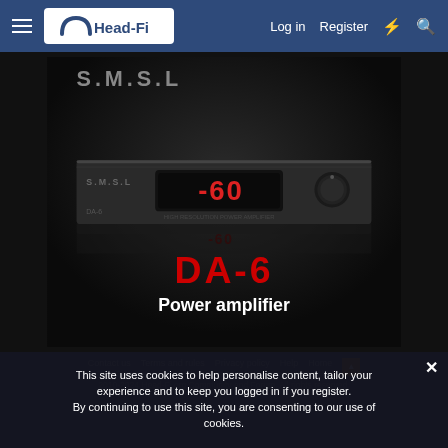Head-Fi | Log in | Register
[Figure (photo): SMSL DA-6 Power Amplifier product photo on black background. Shows the amplifier unit with a digital display reading -60, SMSL branding, and below shows the text 'DA-6 Power amplifier' in red and white text.]
Contact us | Terms and rules | Privacy policy | Help | Home
This site uses cookies to help personalise content, tailor your experience and to keep you logged in if you register. By continuing to use this site, you are consenting to our use of cookies.